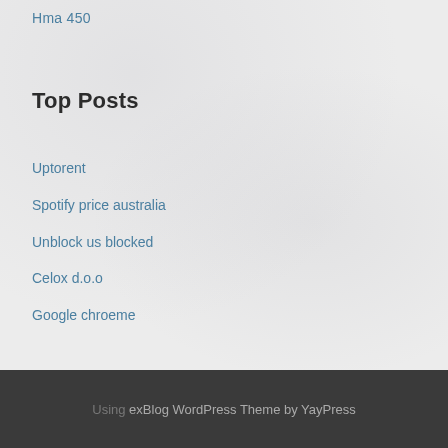Hma 450
Top Posts
Uptorent
Spotify price australia
Unblock us blocked
Celox d.o.o
Google chroeme
Using exBlog WordPress Theme by YayPress